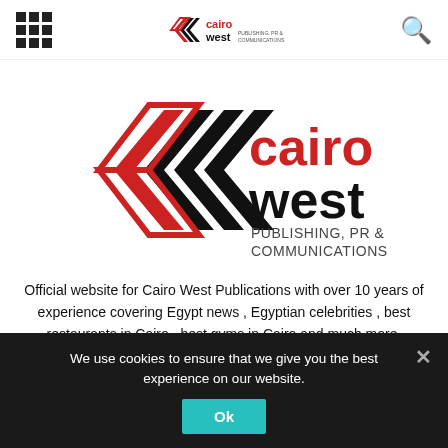[Grid menu icon] Cairo West logo [Search icon]
[Figure (logo): Cairo West Publishing, PR & Communications logo — red and black chevron/diamond icon on left, 'cairo west' in large red and black text on right, with 'PUBLISHING, PR & COMMUNICATIONS' in small black text below]
Official website for Cairo West Publications with over 10 years of experience covering Egypt news , Egyptian celebrities , best restaurants in Cairo , best gyms in Cairo and much more. Founded in early 2010, Cairo West Magazine was created to serve the prestigious and discerning audience on the west side of town with information on real estate, cuisine, sports, entertainment, travel and lifestyle,
We use cookies to ensure that we give you the best experience on our website.
Ok